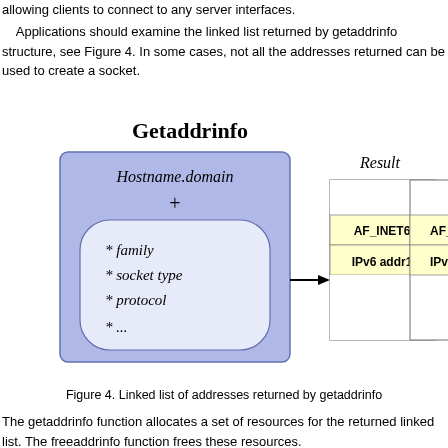allowing clients to connect to any server interfaces.
Applications should examine the linked list returned by getaddrinfo structure, see Figure 4. In some cases, not all the addresses returned can be used to create a socket.
[Figure (engineering-diagram): Diagram titled 'Getaddrinfo' showing a blue rounded rectangle containing 'Hostname.domain + * family * socket type * protocol * ...' with an arrow pointing to a Result section showing linked list nodes with AF_INET6 / IPv6 addr1 and AF_IN... / IPv6 a... connected by arrows.]
Figure 4. Linked list of addresses returned by getaddrinfo
The getaddrinfo function allocates a set of resources for the returned linked list. The freeaddrinfo function frees these resources.